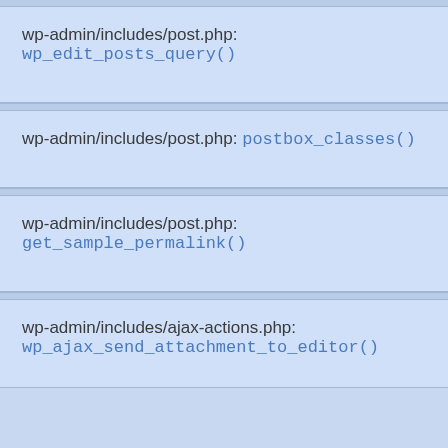wp-admin/includes/post.php: wp_edit_posts_query()
wp-admin/includes/post.php: postbox_classes()
wp-admin/includes/post.php: get_sample_permalink()
wp-admin/includes/ajax-actions.php: wp_ajax_send_attachment_to_editor()